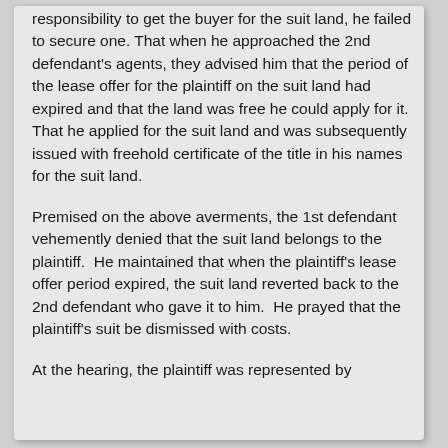responsibility to get the buyer for the suit land, he failed to secure one. That when he approached the 2nd defendant's agents, they advised him that the period of the lease offer for the plaintiff on the suit land had expired and that the land was free he could apply for it.  That he applied for the suit land and was subsequently issued with freehold certificate of the title in his names for the suit land.
Premised on the above averments, the 1st defendant vehemently denied that the suit land belongs to the plaintiff.  He maintained that when the plaintiff's lease offer period expired, the suit land reverted back to the 2nd defendant who gave it to him.  He prayed that the plaintiff's suit be dismissed with costs.
At the hearing, the plaintiff was represented by